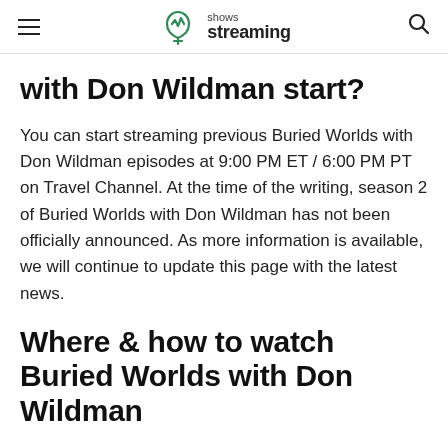shows streaming
with Don Wildman start?
You can start streaming previous Buried Worlds with Don Wildman episodes at 9:00 PM ET / 6:00 PM PT on Travel Channel. At the time of the writing, season 2 of Buried Worlds with Don Wildman has not been officially announced. As more information is available, we will continue to update this page with the latest news.
Where & how to watch Buried Worlds with Don Wildman